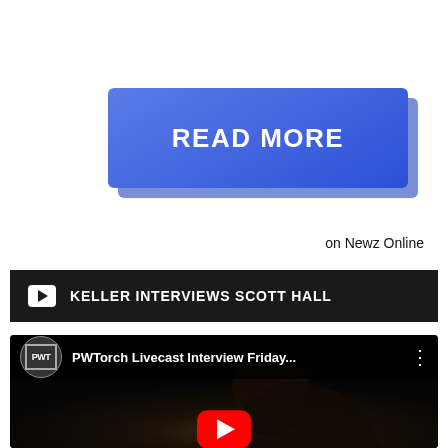[Figure (other): Blue gradient READ MORE button with shadow/3D effect]
on Newz Online
KELLER INTERVIEWS SCOTT HALL
[Figure (screenshot): YouTube video embed preview showing PWTorch Livecast Interview Friday... with a person's face silhouette and red YouTube play button]